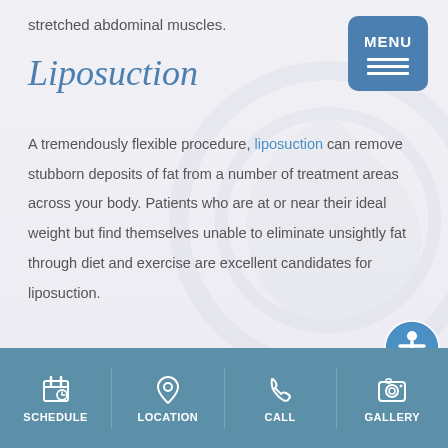stretched abdominal muscles.
Liposuction
A tremendously flexible procedure, liposuction can remove stubborn deposits of fat from a number of treatment areas across your body. Patients who are at or near their ideal weight but find themselves unable to eliminate unsightly fat through diet and exercise are excellent candidates for liposuction.
Mommy Makeover
[Figure (screenshot): Mobile menu button with MENU label and three horizontal lines, blue rounded rectangle]
[Figure (illustration): Blue circular accessibility icon with person symbol]
SCHEDULE | LOCATION | CALL | GALLERY